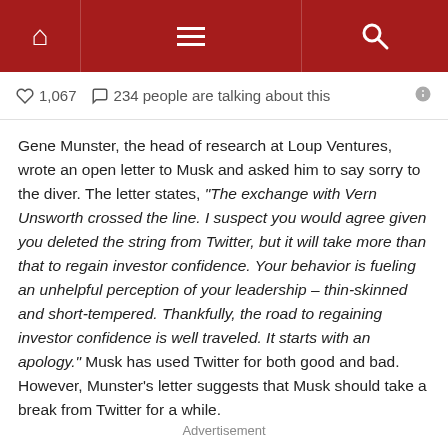Navigation bar with home, menu, and search icons
1,067  234 people are talking about this
Gene Munster, the head of research at Loup Ventures, wrote an open letter to Musk and asked him to say sorry to the diver. The letter states, “The exchange with Vern Unsworth crossed the line. I suspect you would agree given you deleted the string from Twitter, but it will take more than that to regain investor confidence. Your behavior is fueling an unhelpful perception of your leadership – thin-skinned and short-tempered. Thankfully, the road to regaining investor confidence is well traveled. It starts with an apology.” Musk has used Twitter for both good and bad. However, Munster’s letter suggests that Musk should take a break from Twitter for a while.
Advertisement